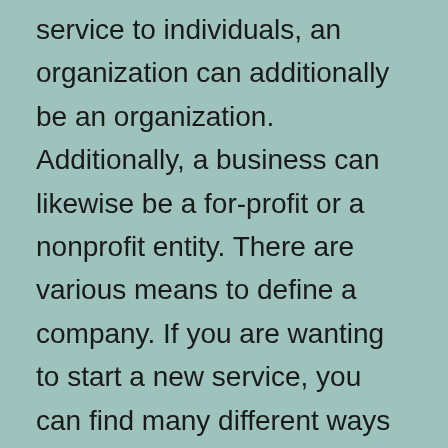service to individuals, an organization can additionally be an organization. Additionally, a business can likewise be a for-profit or a nonprofit entity. There are various means to define a company. If you are wanting to start a new service, you can find many different ways to do so.
The purpose of a service is to supply a product and services to customers. The product and services might be an excellent or a negative one, as well as a business ought to remain in the very same classification as it remains in the market. As a service, it remains in the category of